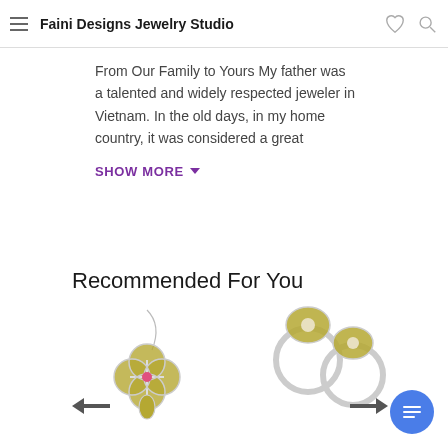Faini Designs Jewelry Studio
From Our Family to Yours My father was a talented and widely respected jeweler in Vietnam. In the old days, in my home country, it was considered a great
SHOW MORE
Recommended For You
[Figure (photo): Green four-leaf clover pendant on a silver chain with a pink center gem]
[Figure (photo): Two silver rings with round pearl-like green flower tops]
[Figure (illustration): Left arrow navigation indicator]
[Figure (illustration): Right arrow navigation indicator]
[Figure (illustration): Blue circular chat button with message lines icon]